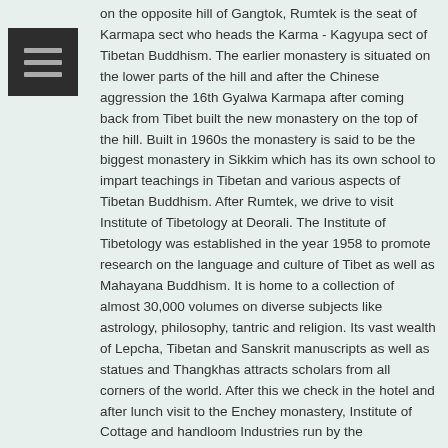on the opposite hill of Gangtok, Rumtek is the seat of Karmapa sect who heads the Karma - Kagyupa sect of Tibetan Buddhism. The earlier monastery is situated on the lower parts of the hill and after the Chinese aggression the 16th Gyalwa Karmapa after coming back from Tibet built the new monastery on the top of the hill. Built in 1960s the monastery is said to be the biggest monastery in Sikkim which has its own school to impart teachings in Tibetan and various aspects of Tibetan Buddhism. After Rumtek, we drive to visit Institute of Tibetology at Deorali. The Institute of Tibetology was established in the year 1958 to promote research on the language and culture of Tibet as well as Mahayana Buddhism. It is home to a collection of almost 30,000 volumes on diverse subjects like astrology, philosophy, tantric and religion. Its vast wealth of Lepcha, Tibetan and Sanskrit manuscripts as well as statues and Thangkhas attracts scholars from all corners of the world. After this we check in the hotel and after lunch visit to the Enchey monastery, Institute of Cottage and handloom Industries run by the Government of Sikkim and then pay a visit to the flower show and drive to view the mountains from Tashi View